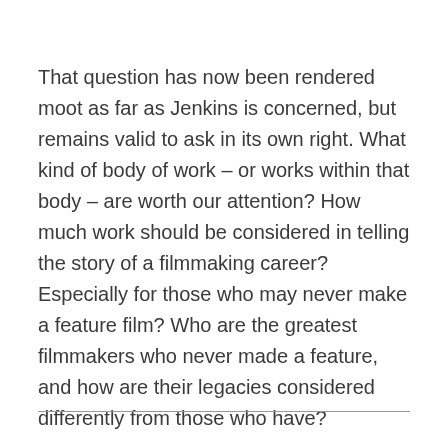That question has now been rendered moot as far as Jenkins is concerned, but remains valid to ask in its own right. What kind of body of work – or works within that body – are worth our attention? How much work should be considered in telling the story of a filmmaking career? Especially for those who may never make a feature film? Who are the greatest filmmakers who never made a feature, and how are their legacies considered differently from those who have?